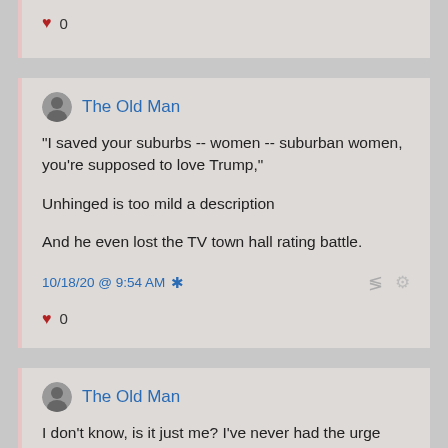♥ 0
The Old Man
"I saved your suburbs -- women -- suburban women, you're supposed to love Trump,"

Unhinged is too mild a description

And he even lost the TV town hall rating battle.

10/18/20 @ 9:54 AM

♥ 0
The Old Man
I don't know, is it just me? I've never had the urge